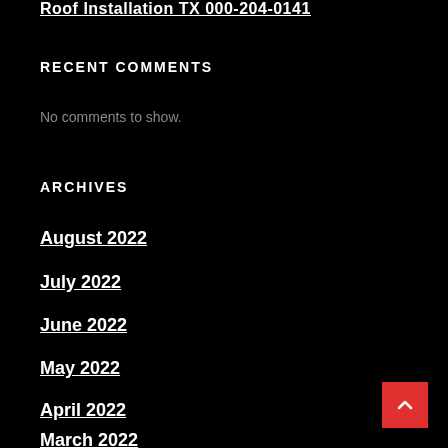Roof Installation TX 000-204-0141
RECENT COMMENTS
No comments to show.
ARCHIVES
August 2022
July 2022
June 2022
May 2022
April 2022
March 2022